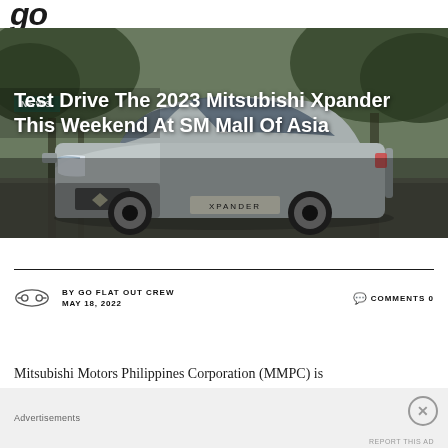go
[Figure (photo): Silver Mitsubishi Xpander SUV photographed on a road with trees in the background]
Test Drive The 2023 Mitsubishi Xpander This Weekend At SM Mall Of Asia
BY GO FLAT OUT CREW   COMMENTS 0
MAY 18, 2022
Mitsubishi Motors Philippines Corporation (MMPC) is
Advertisements